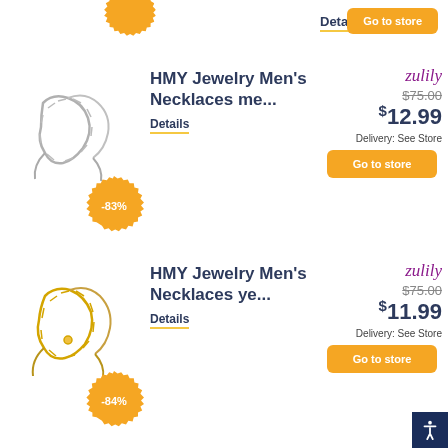[Figure (photo): Silver chain necklace product image with -83% orange starburst badge]
HMY Jewelry Men's Necklaces me...
Details
zulily
$75.00
$12.99
Delivery: See Store
Go to store
[Figure (photo): Gold chain necklace product image with -84% orange starburst badge]
HMY Jewelry Men's Necklaces ye...
Details
zulily
$75.00
$11.99
Delivery: See Store
Go to store